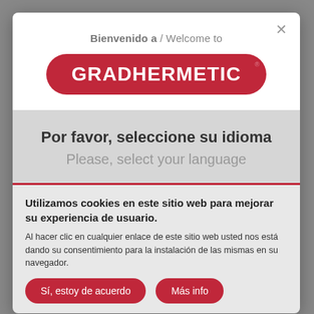Bienvenido a / Welcome to
[Figure (logo): GRADHERMETIC logo — white text on red rounded rectangle background with registered trademark symbol]
Por favor, seleccione su idioma
Please, select your language
Utilizamos cookies en este sitio web para mejorar su experiencia de usuario.
Al hacer clic en cualquier enlace de este sitio web usted nos está dando su consentimiento para la instalación de las mismas en su navegador.
Sí, estoy de acuerdo
Más info